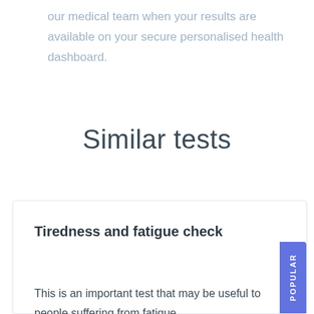our medical team when your results are available on your secure personalised health dashboard.
Similar tests
Tiredness and fatigue check
This is an important test that may be useful to people suffering from fatigue